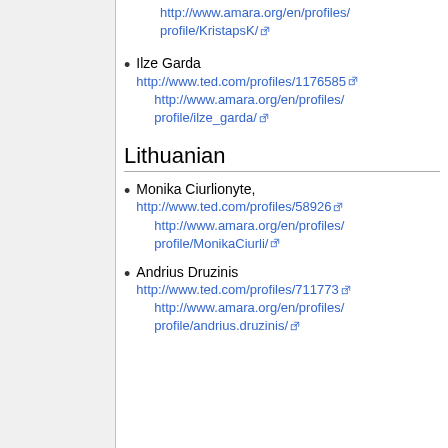http://www.amara.org/en/profiles/profile/KristapsK/
Ilze Garda
http://www.ted.com/profiles/1176585
http://www.amara.org/en/profiles/profile/ilze_garda/
Lithuanian
Monika Ciurlionyte,
http://www.ted.com/profiles/58926
http://www.amara.org/en/profiles/profile/MonikaCiurli/
Andrius Druzinis
http://www.ted.com/profiles/711773
http://www.amara.org/en/profiles/profile/andrius.druzinis/